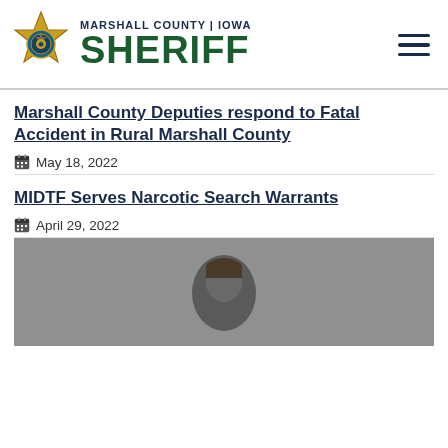MARSHALL COUNTY | IOWA SHERIFF
Marshall County Deputies respond to Fatal Accident in Rural Marshall County
May 18, 2022
MIDTF Serves Narcotic Search Warrants
April 29, 2022
[Figure (photo): A mugshot or close-up photo of a person, shown from roughly the shoulders up, with a gray background.]